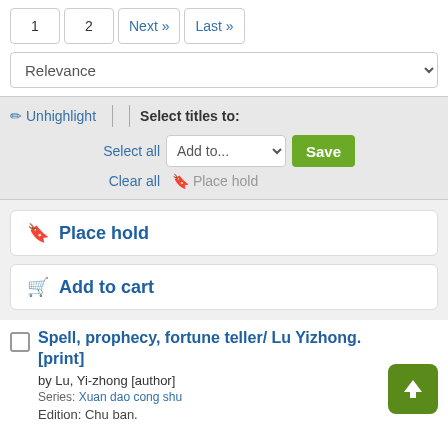1  2  Next »  Last »
Relevance
✏ Unhighlight | Select titles to:
Select all  Add to...  Save
Clear all  🔖 Place hold
🔖 Place hold
🛒 Add to cart
Spell, prophecy, fortune teller/ Lu Yizhong. [print]
by Lu, Yi-zhong [author]
Series: Xuan dao cong shu
Edition: Chu ban.